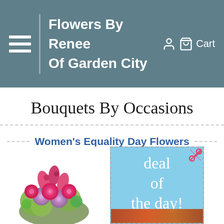Flowers By Renee Of Garden City | Cart
Bouquets By Occasions
Women's Equality Day Flowers
[Figure (photo): Bouquet of pink roses, purple roses, pink tulips, and green hydrangeas arranged together]
[Figure (illustration): Deal of the day promotional card in blue with a scissors icon in top right corner, and flowers visible at the bottom]